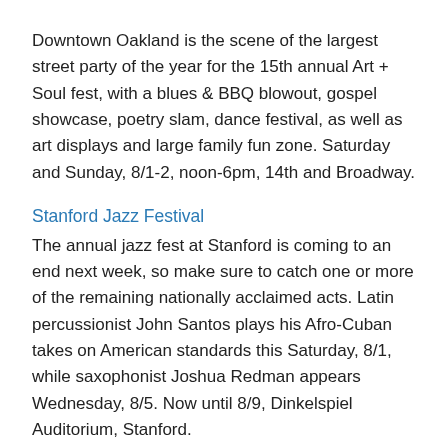Downtown Oakland is the scene of the largest street party of the year for the 15th annual Art + Soul fest, with a blues & BBQ blowout, gospel showcase, poetry slam, dance festival, as well as art displays and large family fun zone. Saturday and Sunday, 8/1-2, noon-6pm, 14th and Broadway.
Stanford Jazz Festival
The annual jazz fest at Stanford is coming to an end next week, so make sure to catch one or more of the remaining nationally acclaimed acts. Latin percussionist John Santos plays his Afro-Cuban takes on American standards this Saturday, 8/1, while saxophonist Joshua Redman appears Wednesday, 8/5. Now until 8/9, Dinkelspiel Auditorium, Stanford.